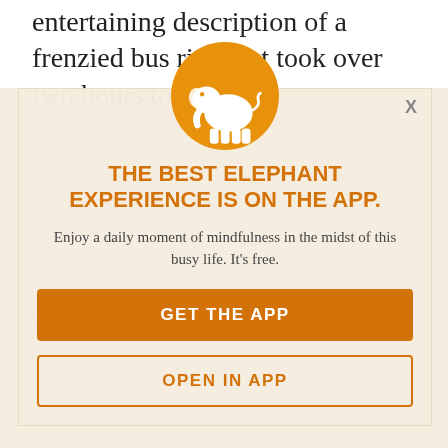entertaining description of a frenzied bus ride that took over two hours to go two
[Figure (infographic): App promotion modal overlay with elephant logo in orange circle, headline, subtext, and two call-to-action buttons on a cream/tan background with faded italic text watermark]
THE BEST ELEPHANT EXPERIENCE IS ON THE APP.
Enjoy a daily moment of mindfulness in the midst of this busy life. It's free.
GET THE APP
OPEN IN APP